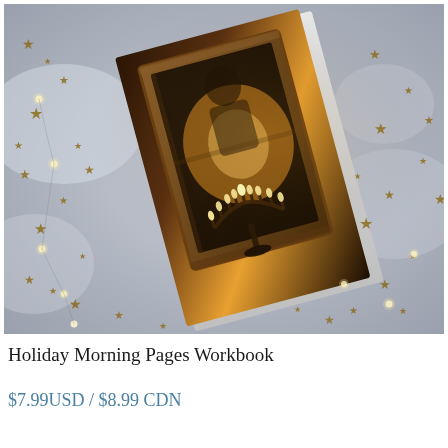[Figure (photo): A product photo of a workbook/journal lying at an angle on a snowy surface scattered with gold stars and fairy lights. The cover shows a Hanukkah menorah with lit candles reflected in a wooden-framed mirror, with a man in the background.]
Holiday Morning Pages Workbook
$7.99USD / $8.99 CDN